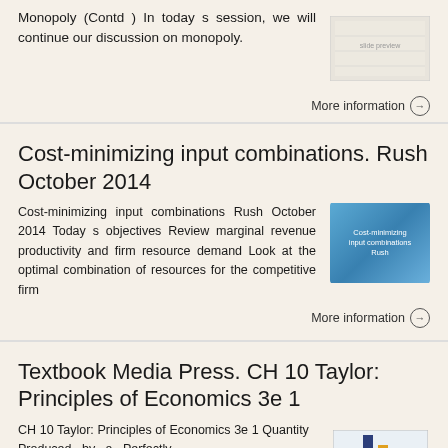Monopoly (Contd ) In today s session, we will continue our discussion on monopoly.
More information →
Cost-minimizing input combinations. Rush October 2014
Cost-minimizing input combinations Rush October 2014 Today s objectives Review marginal revenue productivity and firm resource demand Look at the optimal combination of resources for the competitive firm
More information →
Textbook Media Press. CH 10 Taylor: Principles of Economics 3e 1
CH 10 Taylor: Principles of Economics 3e 1 Quantity Produced by a Perfectly